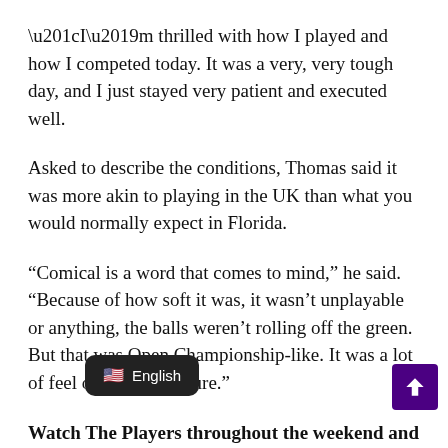“I’m thrilled with how I played and how I competed today. It was a very, very tough day, and I just stayed very patient and executed well.
Asked to describe the conditions, Thomas said it was more akin to playing in the UK than what you would normally expect in Florida.
“Comical is a word that comes to mind,” he said. “Because of how soft it was, it wasn’t unplayable or anything, the balls weren’t rolling off the green. But that was Open Championship-like. It was a lot of feel out there, for sure.”
Watch The Players throughout the weekend and into next week live on Sky Sports’ dedicated Players Channel. Live coverage continues on Sunday and Monday on Sky Sports The Players.